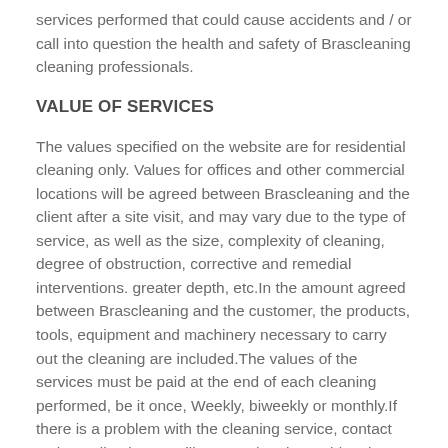services performed that could cause accidents and / or call into question the health and safety of Brascleaning cleaning professionals.
VALUE OF SERVICES
The values specified on the website are for residential cleaning only. Values for offices and other commercial locations will be agreed between Brascleaning and the client after a site visit, and may vary due to the type of service, as well as the size, complexity of cleaning, degree of obstruction, corrective and remedial interventions. greater depth, etc.In the amount agreed between Brascleaning and the customer, the products, tools, equipment and machinery necessary to carry out the cleaning are included.The values of the services must be paid at the end of each cleaning performed, be it once, Weekly, biweekly or monthly.If there is a problem with the cleaning service, contact us immediately. We will ensure that the problem is immediately resolved. Our mission is to ensure the best